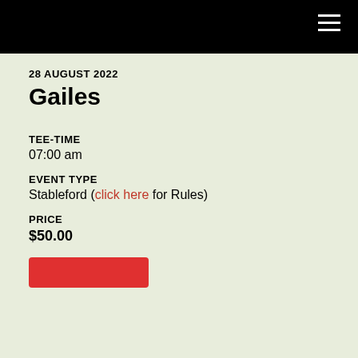28 AUGUST 2022
Gailes
TEE-TIME
07:00 am
EVENT TYPE
Stableford (click here for Rules)
PRICE
$50.00